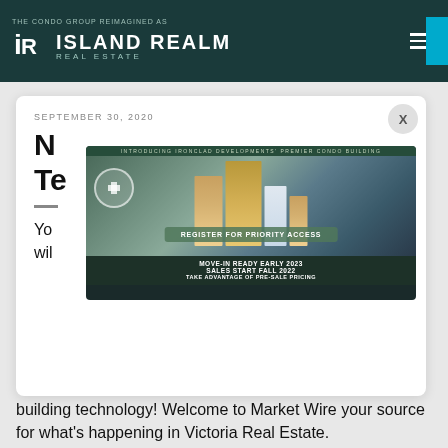THE CONDO GROUP REIMAGINED AS ISLAND REALM REAL ESTATE
SEPTEMBER 30, 2020
N... Te...
[Figure (photo): Advertisement overlay for Centennial Tower condo building. Shows building render with text: INTRODUCING IRONCLAD DEVELOPMENTS' PREMIER CONDO BUILDING, REGISTER FOR PRIORITY ACCESS, MOVE-IN READY EARLY 2023, SALES START FALL 2022, TAKE ADVANTAGE OF PRE-SALE PRICING]
You will ... building technology! Welcome to Market Wire your source for what's happening in Victoria Real Estate.
[Figure (screenshot): Video thumbnail showing Island Realm logo and text: Market Wire: September 30th....]